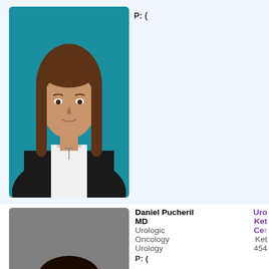[Figure (photo): Professional headshot of a woman with long brown hair wearing a black blazer and white blouse, teal background]
P: (
[Figure (photo): Professional headshot of a man smiling, wearing a navy suit with a lavender tie, gray background]
Daniel Pucheril MD
Urologic Oncology
Urology
Uro
Ket
Cer
Ket
454
P: (
Uro
Ket
Cer
Day
454